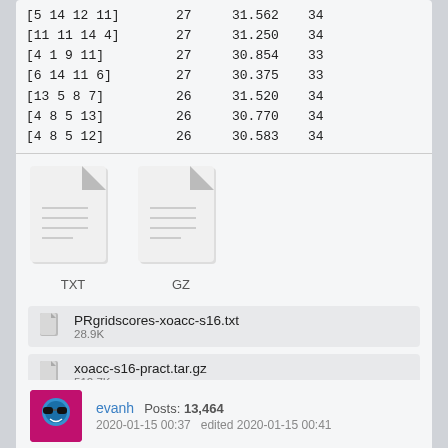| Array | Col2 | Col3 | Col4 |
| --- | --- | --- | --- |
| [5 14 12 11] | 27 | 31.562 | 34 |
| [11 11 14 4] | 27 | 31.250 | 34 |
| [4 1 9 11] | 27 | 30.854 | 33 |
| [6 14 11 6] | 27 | 30.375 | 33 |
| [13 5 8 7] | 26 | 31.520 | 34 |
| [4 8 5 13] | 26 | 30.770 | 34 |
| [4 8 5 12] | 26 | 30.583 | 34 |
[Figure (illustration): Two file icons side by side: TXT (left) and GZ (right), represented as document page icons with folded top-right corners]
PRgridscores-xoacc-s16.txt
28.9K
xoacc-s16-pract.tar.gz
512.7K
evanh   Posts: 13,464
2020-01-15 00:37   edited 2020-01-15 00:41